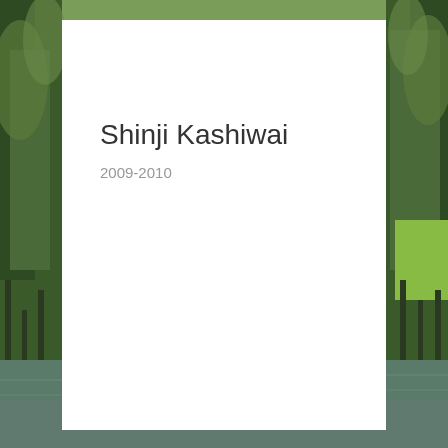[Figure (photo): Outdoor nature scene with trees and a body of water, visible on the left and right sides behind a white overlay panel.]
Shinji Kashiwai
2009-2010